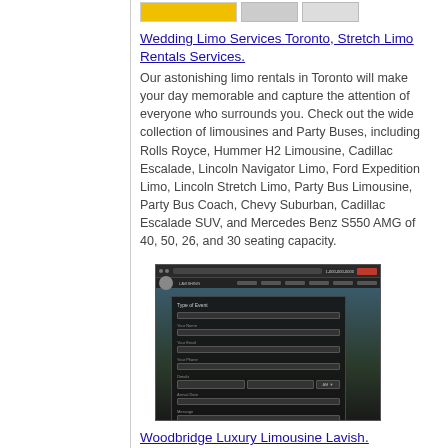[Figure (screenshot): Partial screenshot of website thumbnails showing yellow and gray UI elements at top]
Wedding Limo Services Toronto, Stretch Limo Rentals Services.
Our astonishing limo rentals in Toronto will make your day memorable and capture the attention of everyone who surrounds you. Check out the wide collection of limousines and Party Buses, including Rolls Royce, Hummer H2 Limousine, Cadillac Escalade, Lincoln Navigator Limo, Ford Expedition Limo, Lincoln Stretch Limo, Party Bus Limousine, Party Bus Coach, Chevy Suburban, Cadillac Escalade SUV, and Mercedes Benz S550 AMG of 40, 50, 26, and 30 seating capacity.
[Figure (screenshot): Screenshot of a dark-themed limo booking website form with fields for Type of Event, Your Name, Your Email, Your Phone, Details, Arrival Date, Message, and a GET A QUOTE button]
Woodbridge Luxury Limousine Lavish.
Lavish Limo functions in the city and offers world-class limo services at the most affordable prices. We dont differentiate in our customers and hence; we have maintained industry standards to offer reliable and prompt transportation around the city. Lavish Limo serves with a mission and it has remained unchanged for ages.